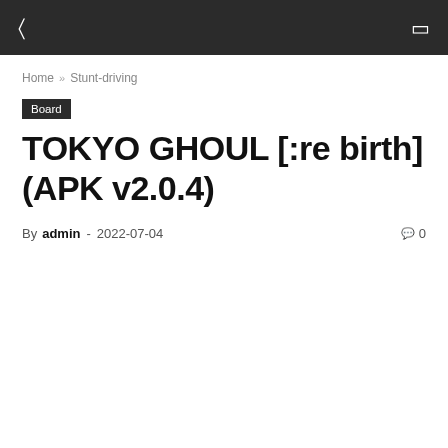☰  ⊡
Home » Stunt-driving
Board
TOKYO GHOUL [:re birth] (APK v2.0.4)
By admin - 2022-07-04  🗨 0